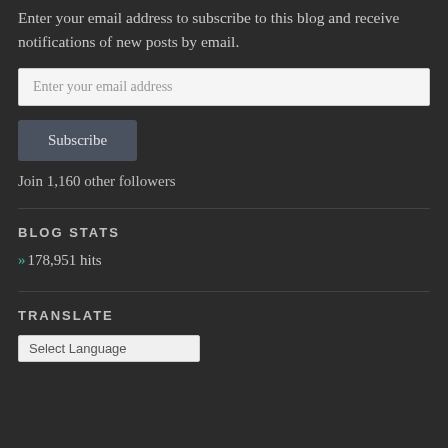Enter your email address to subscribe to this blog and receive notifications of new posts by email.
Enter your email address
Subscribe
Join 1,160 other followers
BLOG STATS
178,951 hits
TRANSLATE
Select Language